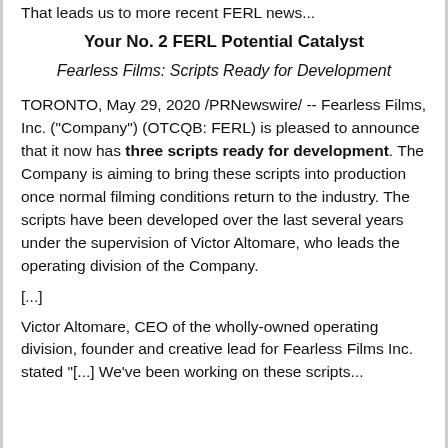That leads us to more recent FERL news...
Your No. 2 FERL Potential Catalyst
Fearless Films: Scripts Ready for Development
TORONTO, May 29, 2020 /PRNewswire/ -- Fearless Films, Inc. ("Company") (OTCQB: FERL) is pleased to announce that it now has three scripts ready for development. The Company is aiming to bring these scripts into production once normal filming conditions return to the industry. The scripts have been developed over the last several years under the supervision of Victor Altomare, who leads the operating division of the Company.
[...]
Victor Altomare, CEO of the wholly-owned operating division, founder and creative lead for Fearless Films Inc. stated "[...] We've been working on these scripts...